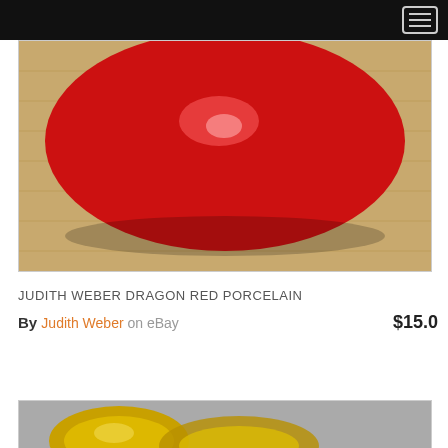[Figure (photo): A shiny red porcelain object photographed on a wooden surface. The object appears rounded and glossy.]
JUDITH WEBER DRAGON RED PORCELAIN
By Judith Weber on eBay $15.0
[Figure (photo): Partial view of gold/metallic porcelain or ceramic objects on a grey surface.]